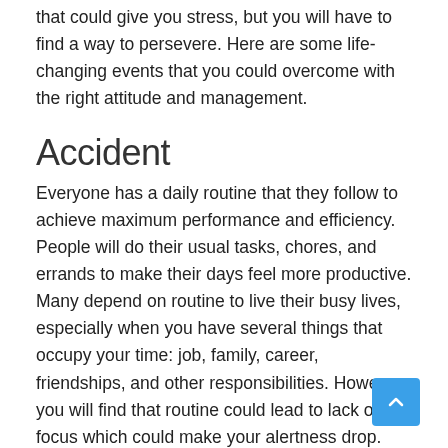that could give you stress, but you will have to find a way to persevere. Here are some life-changing events that you could overcome with the right attitude and management.
Accident
Everyone has a daily routine that they follow to achieve maximum performance and efficiency. People will do their usual tasks, chores, and errands to make their days feel more productive. Many depend on routine to live their busy lives, especially when you have several things that occupy your time: job, family, career, friendships, and other responsibilities. However, you will find that routine could lead to lack of focus which could make your alertness drop. You might end up getting involved in an accident. The situation will be nearly impossible to predict, especially when there are several people invol... Make sure to build a strong support system that could help you to persevere, and also have a family...